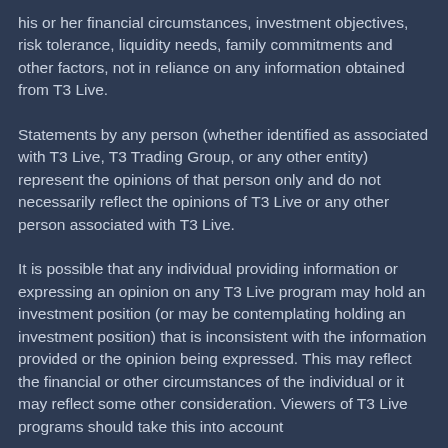his or her financial circumstances, investment objectives, risk tolerance, liquidity needs, family commitments and other factors, not in reliance on any information obtained from T3 Live.
Statements by any person (whether identified as associated with T3 Live, T3 Trading Group, or any other entity) represent the opinions of that person only and do not necessarily reflect the opinions of T3 Live or any other person associated with T3 Live.
It is possible that any individual providing information or expressing an opinion on any T3 Live program may hold an investment position (or may be contemplating holding an investment position) that is inconsistent with the information provided or the opinion being expressed. This may reflect the financial or other circumstances of the individual or it may reflect some other consideration. Viewers of T3 Live programs should take this into account when evaluating the information provided by the